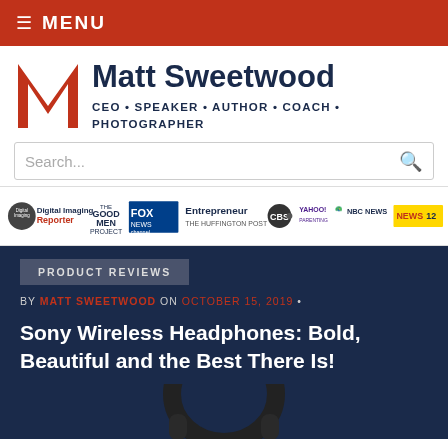≡ MENU
[Figure (logo): Matt Sweetwood logo with red M lettermark and dark blue text: Matt Sweetwood, CEO • SPEAKER • AUTHOR • COACH • PHOTOGRAPHER]
[Figure (infographic): Media logos strip: Digital Imaging Reporter, The Good Men Project, Fox News Channel, Entrepreneur / The Huffington Post, CBS, Yahoo Parenting, NBC News, News 12]
PRODUCT REVIEWS
BY MATT SWEETWOOD ON OCTOBER 15, 2019 •
Sony Wireless Headphones: Bold, Beautiful and the Best There Is!
[Figure (photo): Partial image of Sony wireless headphones (black), cropped at bottom of page]